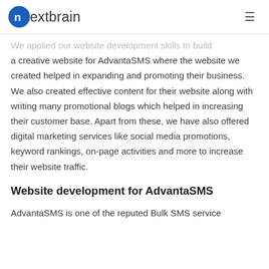nextbrain
We applied our website development skills to build a creative website for AdvantaSMS where the website we created helped in expanding and promoting their business. We also created effective content for their website along with writing many promotional blogs which helped in increasing their customer base. Apart from these, we have also offered digital marketing services like social media promotions, keyword rankings, on-page activities and more to increase their website traffic.
Website development for AdvantaSMS
AdvantaSMS is one of the reputed Bulk SMS service